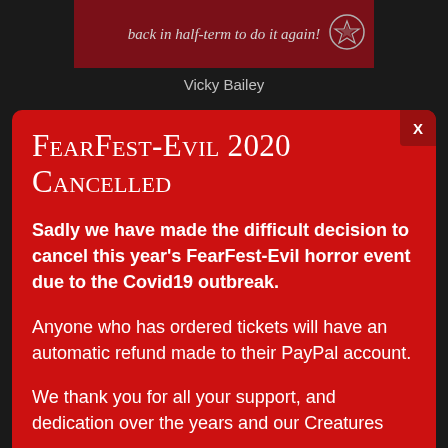[Figure (illustration): Dark red banner image with italic text 'back in half-term to do it again!' and a circular logo/emblem on the right side]
Vicky Bailey
FearFest-Evil 2020 Cancelled
Sadly we have made the difficult decision to cancel this year's FearFest-Evil horror event due to the Covid19 outbreak.
Anyone who has ordered tickets will have an automatic refund made to their PayPal account.
We thank you for all your support, and dedication over the years and our Creatures